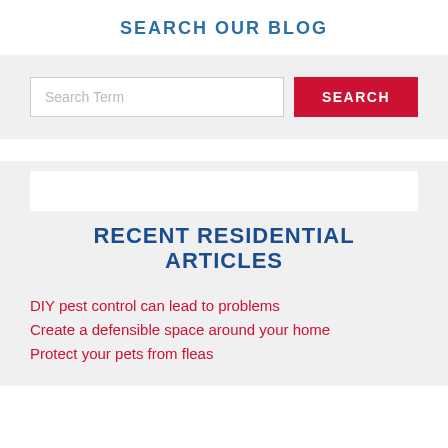SEARCH OUR BLOG
[Figure (screenshot): Search bar with placeholder text 'Search Term' and a red SEARCH button on a light gray background]
RECENT RESIDENTIAL ARTICLES
DIY pest control can lead to problems
Create a defensible space around your home
Protect your pets from fleas